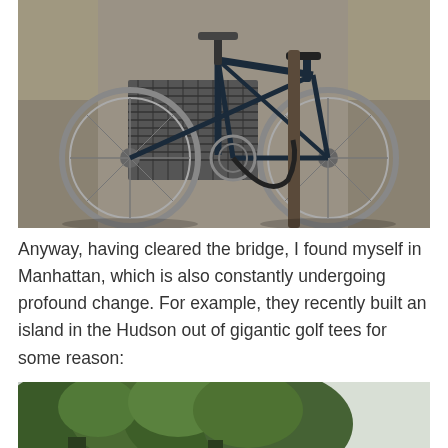[Figure (photo): A dark blue road bicycle locked to a metal post on a Manhattan sidewalk. The bike has drop handlebars, thin tires, and a chain lock. A metal sidewalk grate is visible behind the rear wheel. The pavement is concrete with cracks.]
Anyway, having cleared the bridge, I found myself in Manhattan, which is also constantly undergoing profound change. For example, they recently built an island in the Hudson out of gigantic golf tees for some reason:
[Figure (photo): A partial photo of dense green trees with overcast sky visible in the upper right corner, appearing to be an island or park with lush foliage.]